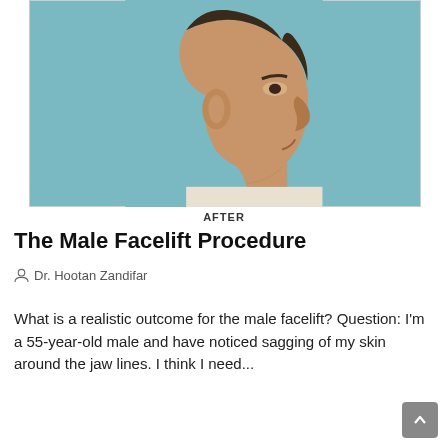[Figure (photo): Before and after photo of a male facelift procedure showing a middle-aged man's face from two angles against a light blue/teal background. The left panel shows a 3/4 front view and the right panel shows a side profile view.]
AFTER
The Male Facelift Procedure
Dr. Hootan Zandifar
What is a realistic outcome for the male facelift? Question: I'm a 55-year-old male and have noticed sagging of my skin around the jaw lines. I think I need...